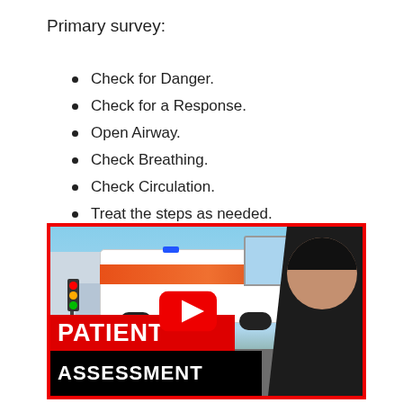Primary survey:
Check for Danger.
Check for a Response.
Open Airway.
Check Breathing.
Check Circulation.
Treat the steps as needed.
[Figure (screenshot): YouTube video thumbnail showing an ambulance with 'PATIENT ASSESSMENT' text overlay and a person in a black cap on the right side, with a red YouTube play button in the center.]